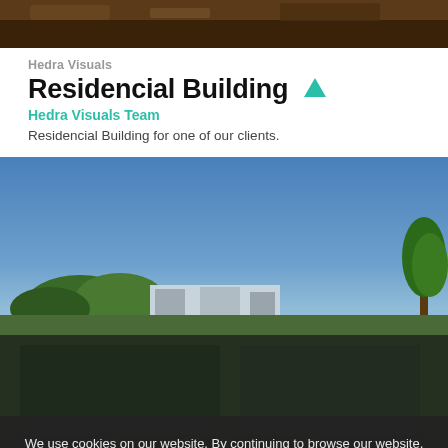[Figure (photo): Top portion of a building or landscape in dark brown tones, partially cropped]
Hedra Visuals
Residencial Building ▲
Hedra Visuals Team
Residencial Building for one of our clients.
[Figure (photo): Architectural rendering of a modern residencial building with blue sky and vegetation in foreground]
We use cookies on our website. By continuing to browse our website, you agree to our use of cookies. For more information on how we use cookies please read our privacy policy
Accept